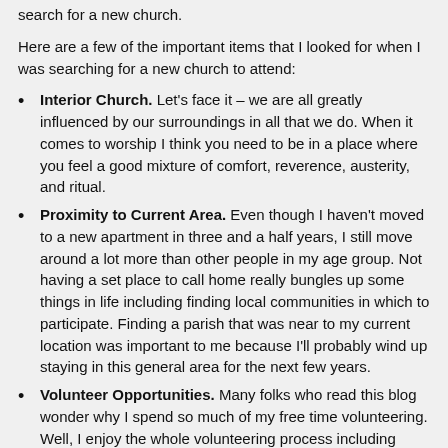search for a new church.
Here are a few of the important items that I looked for when I was searching for a new church to attend:
Interior Church. Let’s face it – we are all greatly influenced by our surroundings in all that we do. When it comes to worship I think you need to be in a place where you feel a good mixture of comfort, reverence, austerity, and ritual.
Proximity to Current Area. Even though I haven't moved to a new apartment in three and a half years, I still move around a lot more than other people in my age group. Not having a set place to call home really bungles up some things in life including finding local communities in which to participate. Finding a parish that was near to my current location was important to me because I’ll probably wind up staying in this general area for the next few years.
Volunteer Opportunities. Many folks who read this blog wonder why I spend so much of my free time volunteering. Well, I enjoy the whole volunteering process including helping people. Understand where I’m coming from, though – I have a few large-scale, national volunteer obligations coming to an end in the next year and I think the next time I dedicate a great